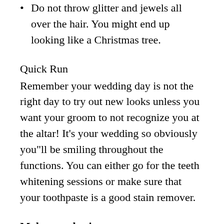Do not throw glitter and jewels all over the hair. You might end up looking like a Christmas tree.
Quick Run
Remember your wedding day is not the right day to try out new looks unless you want your groom to not recognize you at the altar! It’s your wedding so obviously you“ll be smiling throughout the functions. You can either go for the teeth whitening sessions or make sure that your toothpaste is a good stain remover.
Make – up basics:
Keep in mind the formality and the time of